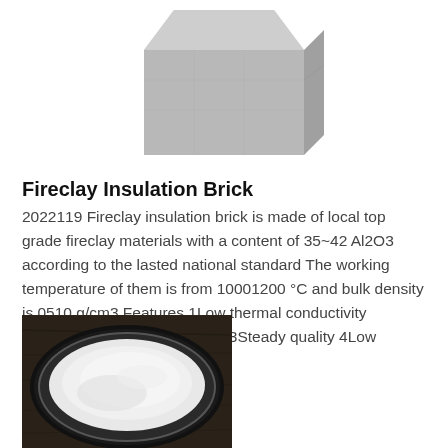[Figure (photo): A fireclay insulation brick block, light gray color, trapezoidal/rectangular 3D solid shape viewed from an angle.]
Fireclay Insulation Brick
2022119 Fireclay insulation brick is made of local top grade fireclay materials with a content of 35~42 Al2O3 according to the lasted national standard The working temperature of them is from 10001200 °C and bulk density is 0510 g/cm3 Features 1Low thermal conductivity 2Excellent insulating property 3Steady quality 4Low impurities
[Figure (photo): A round glass/metal container filled with fine white powder, photographed on a dark wooden surface.]